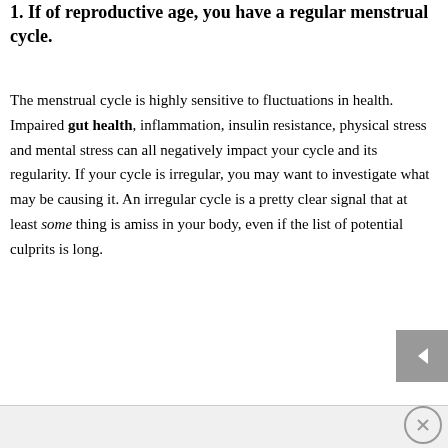1. If of reproductive age, you have a regular menstrual cycle.
The menstrual cycle is highly sensitive to fluctuations in health. Impaired gut health, inflammation, insulin resistance, physical stress and mental stress can all negatively impact your cycle and its regularity. If your cycle is irregular, you may want to investigate what may be causing it. An irregular cycle is a pretty clear signal that at least some thing is amiss in your body, even if the list of potential culprits is long.